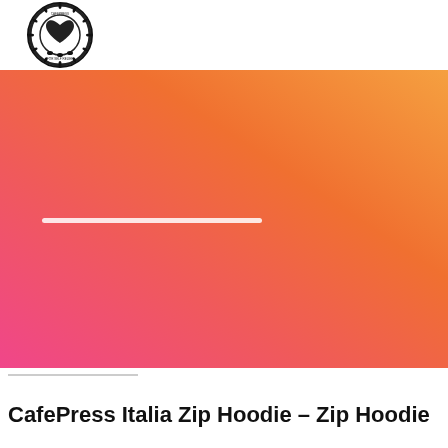[Figure (logo): Circular emblem/badge logo in black and white with decorative border and a heart design in center, text around the border]
[Figure (photo): Large gradient background image transitioning from pink/magenta on the left and bottom to orange on the right and top, with a white horizontal line/bar visible in the center-left area]
CafePress Italia Zip Hoodie – Zip Hoodie